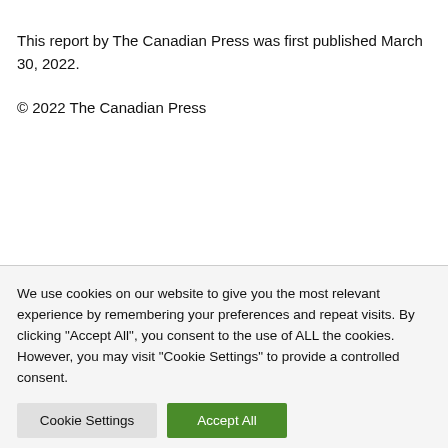This report by The Canadian Press was first published March 30, 2022.
© 2022 The Canadian Press
We use cookies on our website to give you the most relevant experience by remembering your preferences and repeat visits. By clicking "Accept All", you consent to the use of ALL the cookies. However, you may visit "Cookie Settings" to provide a controlled consent.